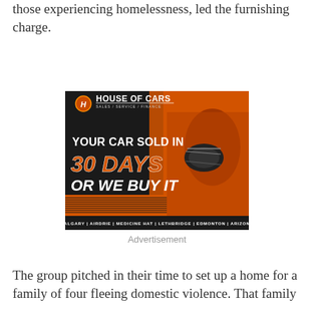those experiencing homelessness, led the furnishing charge.
[Figure (photo): House of Cars advertisement. Black and orange background with an orange sports car. Text reads: House of Cars, Sales / Service / Finance. YOUR CAR SOLD IN 30 DAYS OR WE BUY IT. Calgary | Airdrie | Medicine Hat | Lethbridge | Edmonton | Arizona]
Advertisement
The group pitched in their time to set up a home for a family of four fleeing domestic violence. That family